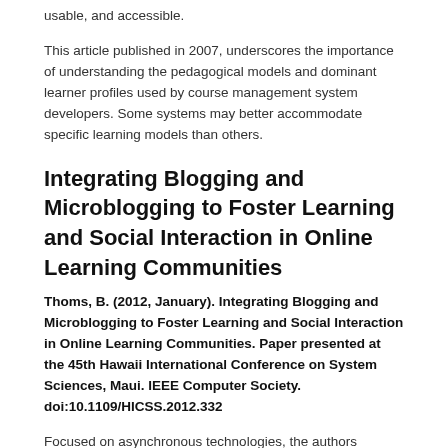usable, and accessible.
This article published in 2007, underscores the importance of understanding the pedagogical models and dominant learner profiles used by course management system developers. Some systems may better accommodate specific learning models than others.
Integrating Blogging and Microblogging to Foster Learning and Social Interaction in Online Learning Communities
Thoms, B. (2012, January). Integrating Blogging and Microblogging to Foster Learning and Social Interaction in Online Learning Communities. Paper presented at the 45th Hawaii International Conference on System Sciences, Maui. IEEE Computer Society. doi:10.1109/HICSS.2012.332
Focused on asynchronous technologies, the authors explore how Web 2.0 technologies facilitate the formation of online learning communities in higher education. Blogging is shown to encourage thoughtful consideration of new learning and the development of an online identity